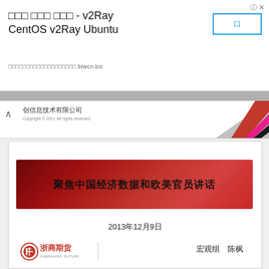□□□ □□□ □□□ - v2Ray CentOS v2Ray Ubuntu □□□□□□□□□□□□□□□□□□ btwcn.biz
[Figure (screenshot): Company logo strip with 创信息技术有限公司, copyright notice, and diagonal red/pink/black striped graphic]
[Figure (illustration): Red gradient banner with Chinese text: 聚焦中国经济数据和欧美官员讲话]
2013年12月9日
[Figure (logo): 浙商期货 (Zheshang Futures) logo with red circular emblem]
宏观组　陈枫